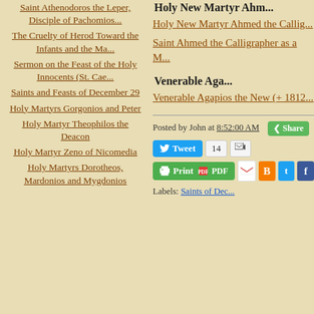Saint Athenodoros the Leper, Disciple of Pachomios...
The Cruelty of Herod Toward the Infants and the Ma...
Sermon on the Feast of the Holy Innocents (St. Cae...
Saints and Feasts of December 29
Holy Martyrs Gorgonios and Peter
Holy Martyr Theophilos the Deacon
Holy Martyr Zeno of Nicomedia
Holy Martyrs Dorotheos, Mardonios and Mygdonios
Holy New Martyr Ahm...
Holy New Martyr Ahmed the Callig...
Saint Ahmed the Calligrapher as a M...
Venerable Aga...
Venerable Agapios the New (+ 1812...
Posted by John at 8:52:00 AM
Tweet  14  Share
Print  PDF  M  B  t  f
Labels: Saints of Dec...